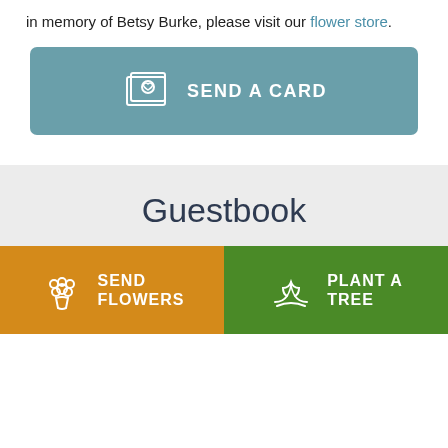in memory of Betsy Burke, please visit our flower store.
[Figure (other): Send a Card button with greeting card icon]
Guestbook
[Figure (other): Send Flowers button with bouquet icon]
[Figure (other): Plant a Tree button with seedling icon]